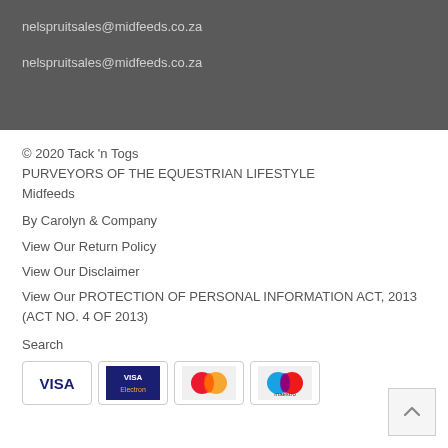nelspruitsales@midfeeds.co.za
nelspruitsales@midfeeds.co.za
© 2020 Tack 'n Togs
PURVEYORS OF THE EQUESTRIAN LIFESTYLE
Midfeeds
By Carolyn & Company
View Our Return Policy
View Our Disclaimer
View Our PROTECTION OF PERSONAL INFORMATION ACT, 2013 (ACT NO. 4 OF 2013)
Search
[Figure (other): Payment method icons: VISA, VISA Electron, Mastercard, Maestro]